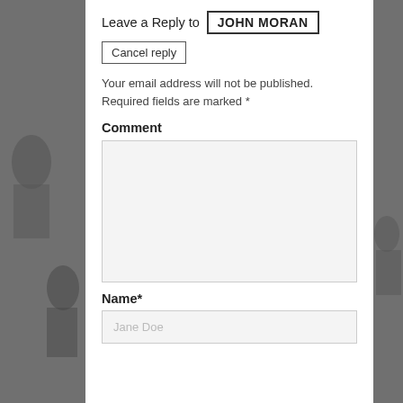Leave a Reply to JOHN MORAN
Cancel reply
Your email address will not be published. Required fields are marked *
Comment
Name*